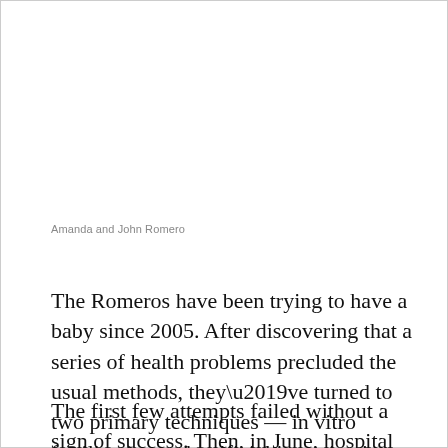Amanda and John Romero
The Romeros have been trying to have a baby since 2005. After discovering that a series of health problems precluded the usual methods, they’ve turned to two primary techniques — in vitro fertilization and artificial insemination — on five separate occasions.
The first few attempts failed without a sign of success. Then, in June, hospital staff delivered